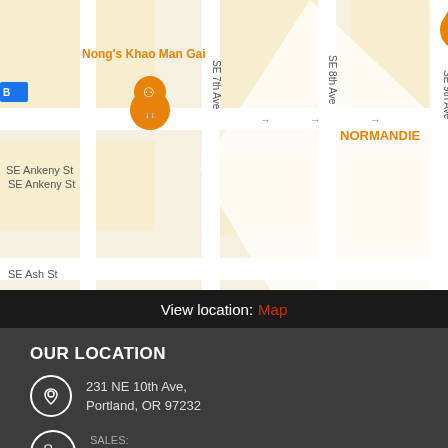[Figure (map): Google Maps screenshot showing Portland OR area with restaurant pins including Nong's Khao Man Gai, NORMANDIE, Hungry Tiger, and Sharetea. Streets visible: SE Ankeny St, SE Ash St, SE 7th Ave, SE 8th Ave, SE 9th Ave.]
View location: Map
OUR LOCATION
231 NE 10th Ave,
Portland, OR 97232
SALES:
(503) 452-2323
OFFICE HOURS
Mon - Fri :  9:30 AM - 6:00 PM